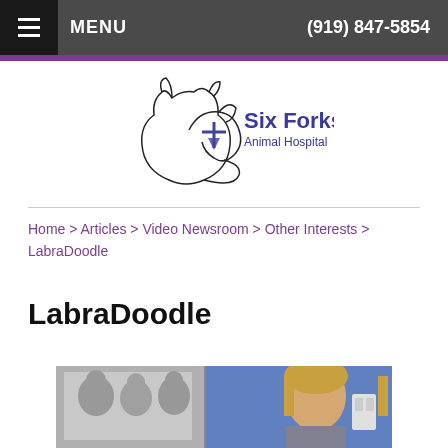MENU   (919) 847-5854
[Figure (logo): Six Forks Animal Hospital logo with line-art dog and cat silhouette]
Home > Articles > Video Newsroom > Other Interests > LabraDoodle
LabraDoodle
[Figure (screenshot): Video thumbnail showing a woman in front of a blue wall with a poster of cats]